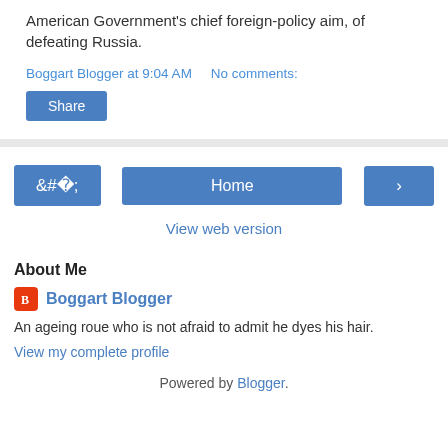American Government's chief foreign-policy aim, of defeating Russia.
Boggart Blogger at 9:04 AM   No comments:
Share
‹  Home  ›
View web version
About Me
Boggart Blogger
An ageing roue who is not afraid to admit he dyes his hair.
View my complete profile
Powered by Blogger.